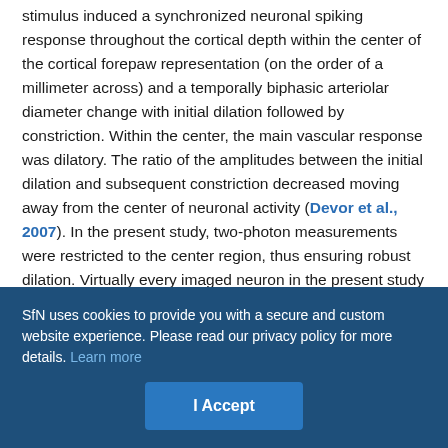stimulus induced a synchronized neuronal spiking response throughout the cortical depth within the center of the cortical forepaw representation (on the order of a millimeter across) and a temporally biphasic arteriolar diameter change with initial dilation followed by constriction. Within the center, the main vascular response was dilatory. The ratio of the amplitudes between the initial dilation and subsequent constriction decreased moving away from the center of neuronal activity (Devor et al., 2007). In the present study, two-photon measurements were restricted to the center region, thus ensuring robust dilation. Virtually every imaged neuron in the present study exhibited a stimulus-induced calcium increase. Similar behavior was observed in our recent study in the barrel cortex using electrical stimulation of the whisker pad (Reznichenko et al., 2012).
SfN uses cookies to provide you with a secure and custom website experience. Please read our privacy policy for more details. Learn more